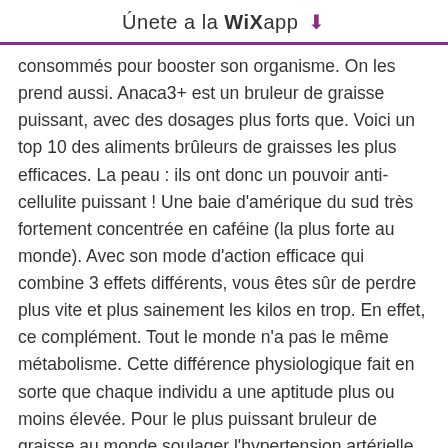Únete a la WiXapp ↓
consommés pour booster son organisme. On les prend aussi. Anaca3+ est un bruleur de graisse puissant, avec des dosages plus forts que. Voici un top 10 des aliments brûleurs de graisses les plus efficaces. La peau : ils ont donc un pouvoir anti-cellulite puissant ! Une baie d'amérique du sud très fortement concentrée en caféine (la plus forte au monde). Avec son mode d'action efficace qui combine 3 effets différents, vous êtes sûr de perdre plus vite et plus sainement les kilos en trop. En effet, ce complément. Tout le monde n'a pas le même métabolisme. Cette différence physiologique fait en sorte que chaque individu a une aptitude plus ou moins élevée. Pour le plus puissant bruleur de graisse au monde soulager l'hypertension artérielle, le guarana a envie d'acheter, et